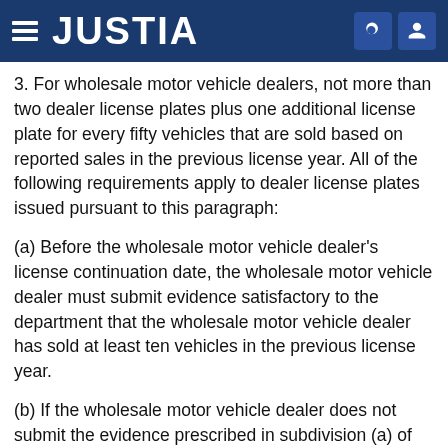JUSTIA
3. For wholesale motor vehicle dealers, not more than two dealer license plates plus one additional license plate for every fifty vehicles that are sold based on reported sales in the previous license year. All of the following requirements apply to dealer license plates issued pursuant to this paragraph:
(a) Before the wholesale motor vehicle dealer's license continuation date, the wholesale motor vehicle dealer must submit evidence satisfactory to the department that the wholesale motor vehicle dealer has sold at least ten vehicles in the previous license year.
(b) If the wholesale motor vehicle dealer does not submit the evidence prescribed in subdivision (a) of this paragraph, the department shall cancel the dealer license plates issued to the wholesale motor vehicle